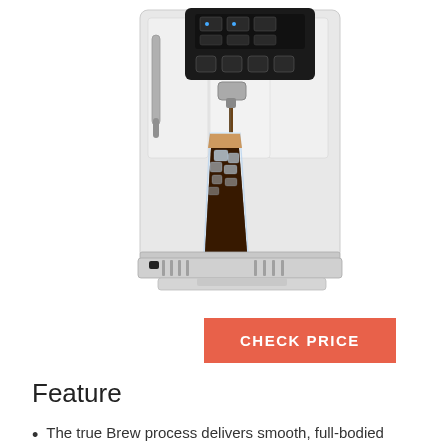[Figure (photo): A white De'Longhi automatic espresso/coffee machine with a digital control panel on top, a steam wand on the left, and a tall glass filled with iced coffee being dispensed from the machine's spout. The machine sits on a drip tray. The background is white.]
CHECK PRICE
Feature
The true Brew process delivers smooth, full-bodied